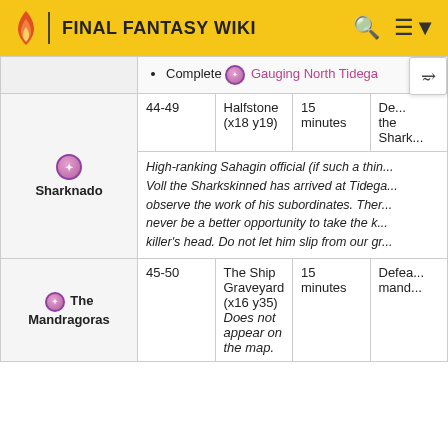FINAL FANTASY WIKI
| Name | Level | Location | Time | Objectives |
| --- | --- | --- | --- | --- |
|  |  | Complete [icon] Gauging North Tidegate |  |  |
| [icon] Sharknado | 44-49 | Halfstone (x18 y19) | 15 minutes | De... the Shark... |
|  |  | High-ranking Sahagin official (if such a thin... Voll the Sharkskinned has arrived at Tidega... observe the work of his subordinates. Ther... never be a better opportunity to take the k... killer's head. Do not let him slip from our gr... |  |  |
| [icon] The Mandragoras | 45-50 | The Ship Graveyard (x16 y35) Does not appear on the map. | 15 minutes | Defea... mand... |